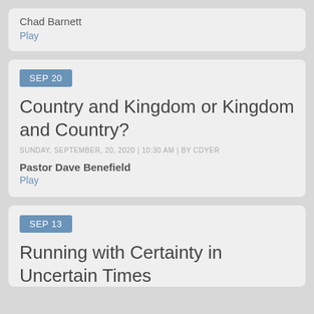Chad Barnett
Play
SEP 20
Country and Kingdom or Kingdom and Country?
SUNDAY, SEPTEMBER, 20, 2020 | 10:30 AM | BY CDYER
Pastor Dave Benefield
Play
SEP 13
Running with Certainty in Uncertain Times